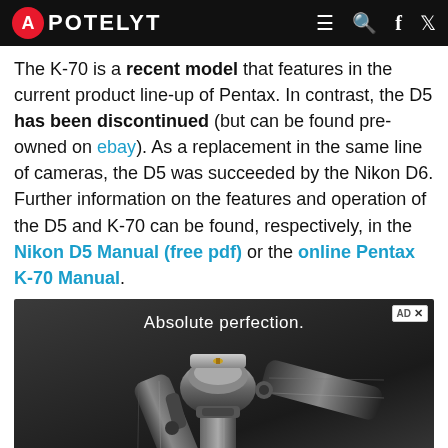APOTELYT
The K-70 is a recent model that features in the current product line-up of Pentax. In contrast, the D5 has been discontinued (but can be found pre-owned on ebay). As a replacement in the same line of cameras, the D5 was succeeded by the Nikon D6. Further information on the features and operation of the D5 and K-70 can be found, respectively, in the Nikon D5 Manual (free pdf) or the online Pentax K-70 Manual.
[Figure (photo): Advertisement banner showing a Gitzo tripod head with text 'Absolute perfection.' on a dark background.]